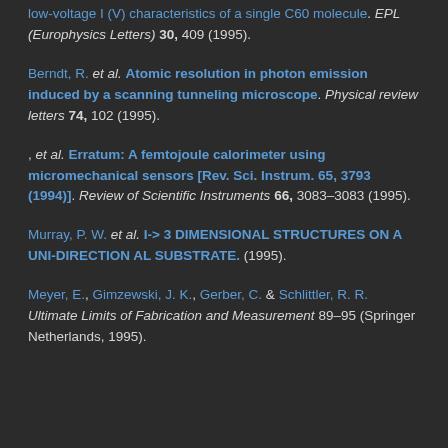low-voltage I (V) characteristics of a single C60 molecule. EPL (Europhysics Letters) 30, 409 (1995).
Berndt, R. et al. Atomic resolution in photon emission induced by a scanning tunneling microscope. Physical review letters 74, 102 (1995).
, et al. Erratum: A femtojoule calorimeter using micromechanical sensors [Rev. Sci. Instrum. 65, 3793 (1994)]. Review of Scientific Instruments 66, 3083–3083 (1995).
Murray, P. W. et al. I-> 3 DIMENSIONAL STRUCTURES ON A UNI-DIRECTION AL SUBSTRATE. (1995).
Meyer, E., Gimzewski, J. K., Gerber, C. & Schlittler, R. R. Ultimate Limits of Fabrication and Measurement 89–95 (Springer Netherlands, 1995).